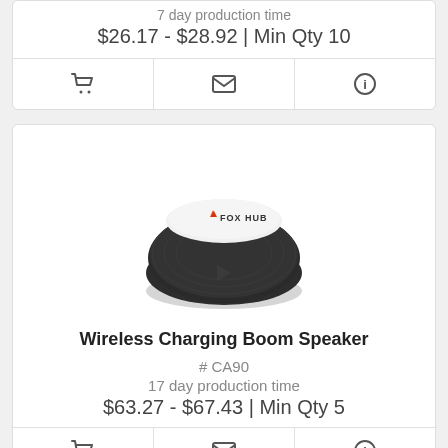7 day production time
$26.17 - $28.92 | Min Qty 10
[Figure (screenshot): Action bar with cart, email, and info icons]
[Figure (photo): Wireless Charging Boom Speaker product photo with FOX HUB branding on top, dark fabric exterior]
Wireless Charging Boom Speaker
# CA90
17 day production time
$63.27 - $67.43 | Min Qty 5
[Figure (screenshot): Action bar with cart, email, and info icons (partially visible)]